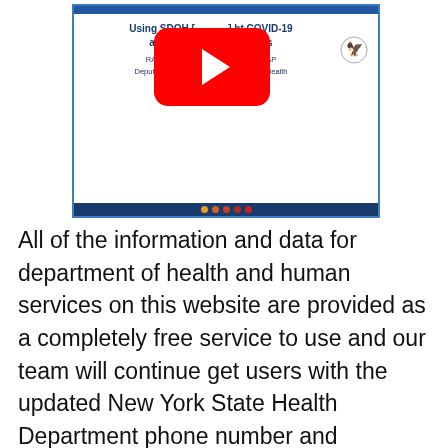[Figure (screenshot): Screenshot of a government presentation slide titled 'Using SDOH [to fight] COVID-19 and Support[ing] Recovery Efforts' by RADM Felicia Collins, MD, MPH, FAAP, Deputy Assistant Secretary for Minority Health, Director, Office of Minority Health, dated August 12, 2020. A YouTube play button overlay covers part of the slide. HHS eagle logo visible. Dark blue banner at bottom with colored dots.]
All of the information and data for department of health and human services on this website are provided as a completely free service to use and our team will continue get users with the updated New York State Health Department phone number and additional information from our database for New York State Health Department and other health departments offices locally, by county and